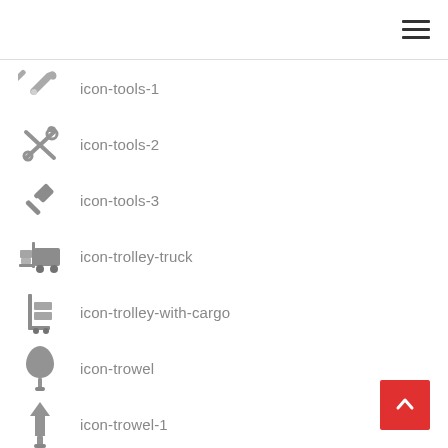hamburger menu icon
icon-tools-1
icon-tools-2
icon-tools-3
icon-trolley-truck
icon-trolley-with-cargo
icon-trowel
icon-trowel-1